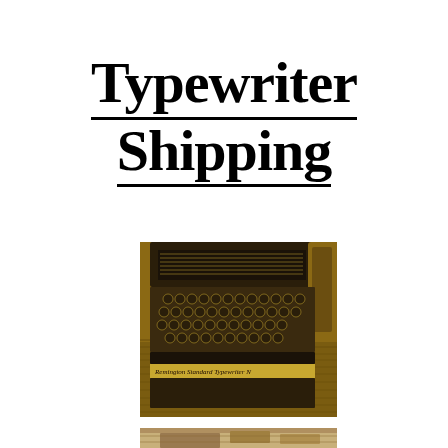Typewriter Shipping
[Figure (photo): Close-up photograph of an antique Remington Standard Typewriter, showing the keyboard with round keys and the paper carriage mechanism, with a wooden desktop background. A label reading 'Remington Standard Typewriter N' is visible on the machine.]
[Figure (photo): Partial view of another vintage typewriter photograph, cropped at the bottom of the page.]